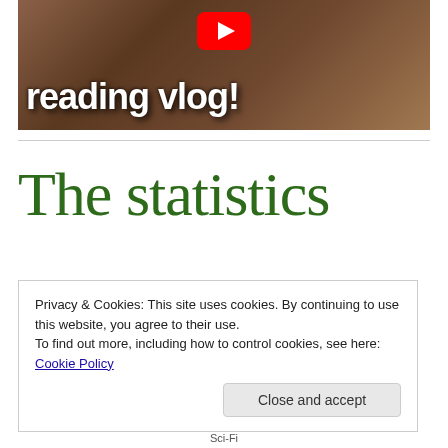[Figure (screenshot): YouTube video thumbnail showing a person holding a book with text 'reading vlog!' overlaid in white bold font, and a YouTube play button icon at the top center]
The statistics
Privacy & Cookies: This site uses cookies. By continuing to use this website, you agree to their use.
To find out more, including how to control cookies, see here: Cookie Policy
Sci-Fi